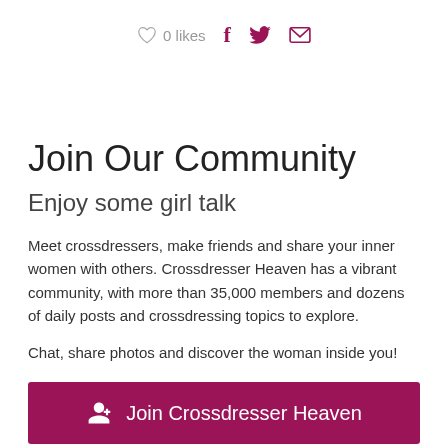♡ 0 likes  f  🐦  ✉
Join Our Community
Enjoy some girl talk
Meet crossdressers, make friends and share your inner women with others. Crossdresser Heaven has a vibrant community, with more than 35,000 members and dozens of daily posts and crossdressing topics to explore.
Chat, share photos and discover the woman inside you!
Join Crossdresser Heaven